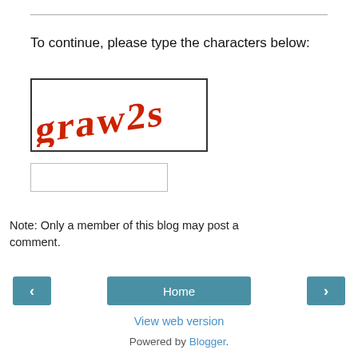To continue, please type the characters below:
[Figure (other): CAPTCHA image showing distorted red handwritten-style text on white background inside a bordered box]
[Figure (other): Empty text input field for CAPTCHA entry]
Note: Only a member of this blog may post a comment.
< (previous navigation button)  Home  > (next navigation button)
View web version
Powered by Blogger.